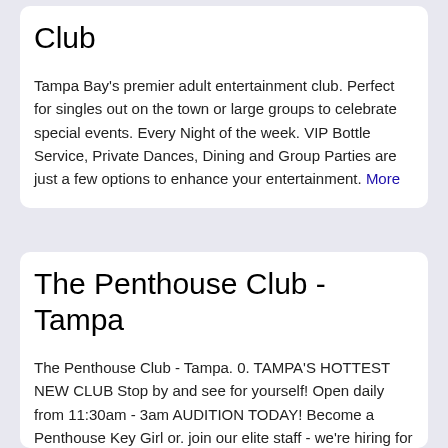Club
Tampa Bay's premier adult entertainment club. Perfect for singles out on the town or large groups to celebrate special events. Every Night of the week. VIP Bottle Service, Private Dances, Dining and Group Parties are just a few options to enhance your entertainment. More
The Penthouse Club - Tampa
The Penthouse Club - Tampa. 0. TAMPA'S HOTTEST NEW CLUB Stop by and see for yourself! Open daily from 11:30am - 3am AUDITION TODAY! Become a Penthouse Key Girl or. join our elite staff - we're hiring for all positions! DINE AT PRIME Penthouse Prime's elevated steakhouse menu pairs. beautifully